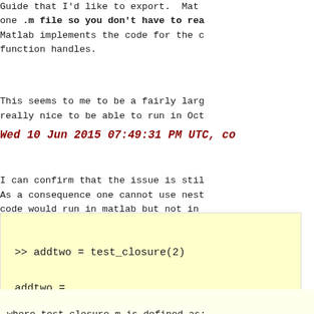Guide that I'd like to export.  Mat one .m file so you don't have to rea Matlab implements the code for the c function handles.
This seems to me to be a fairly larg really nice to be able to run in Oct
Wed 10 Jun 2015 07:49:31 PM UTC, co
I can confirm that the issue is stil As a consequence one cannot use nest code would run in matlab but not in
>> addtwo = test_closure(2)

addtwo =

    @(a)innerfun(a)

>> addtwo(3)

ans =

     5
where test_closure.m is defined as: